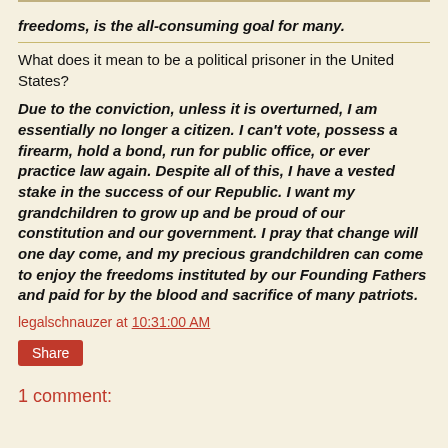freedoms, is the all-consuming goal for many.
What does it mean to be a political prisoner in the United States?
Due to the conviction, unless it is overturned, I am essentially no longer a citizen. I can't vote, possess a firearm, hold a bond, run for public office, or ever practice law again. Despite all of this, I have a vested stake in the success of our Republic. I want my grandchildren to grow up and be proud of our constitution and our government. I pray that change will one day come, and my precious grandchildren can come to enjoy the freedoms instituted by our Founding Fathers and paid for by the blood and sacrifice of many patriots.
legalschnauzer at 10:31:00 AM
Share
1 comment: